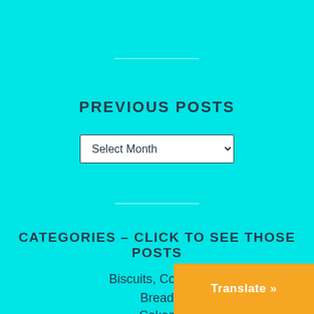PREVIOUS POSTS
[Figure (screenshot): A dropdown select box showing 'Select Month' with a down arrow, on a cyan background]
CATEGORIES – CLICK TO SEE THOSE POSTS
Biscuits, Cookies
Bread
Cakes